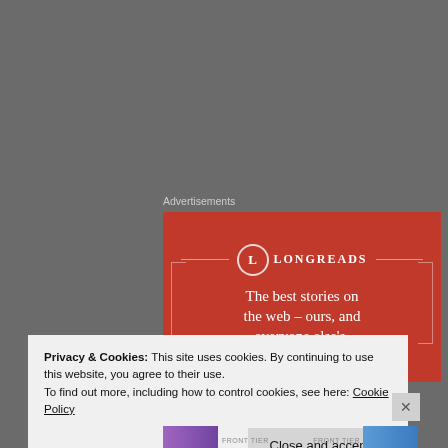Advertisements
[Figure (illustration): Longreads advertisement banner on red background. Circle logo with letter L and text LONGREADS. Tagline: The best stories on the web – ours, and everyone else's.]
helenlarglee
Privacy & Cookies: This site uses cookies. By continuing to use this website, you agree to their use.
To find out more, including how to control cookies, see here: Cookie Policy
Close and accept